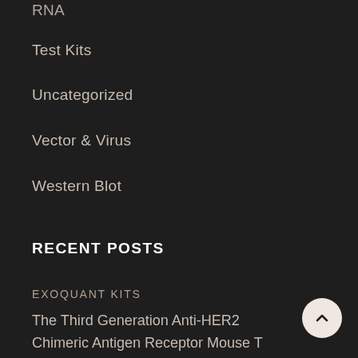RNA
Test Kits
Uncategorized
Vector & Virus
Western Blot
RECENT POSTS
EXOQUANT KITS
The Third Generation Anti-HER2 Chimeric Antigen Receptor Mouse T Cells Alone or Together With Anti-PD1 Antibody Inhibits the Growth of Mouse